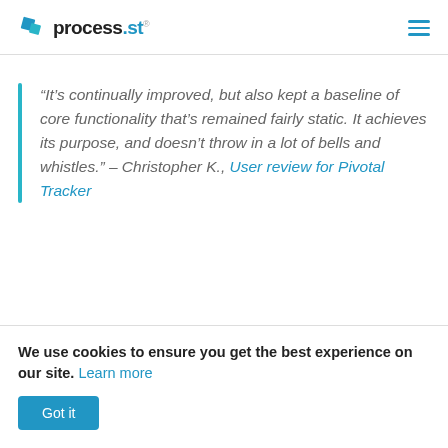process.st
“It’s continually improved, but also kept a baseline of core functionality that’s remained fairly static. It achieves its purpose, and doesn’t throw in a lot of bells and whistles.” – Christopher K., User review for Pivotal Tracker
We use cookies to ensure you get the best experience on our site. Learn more